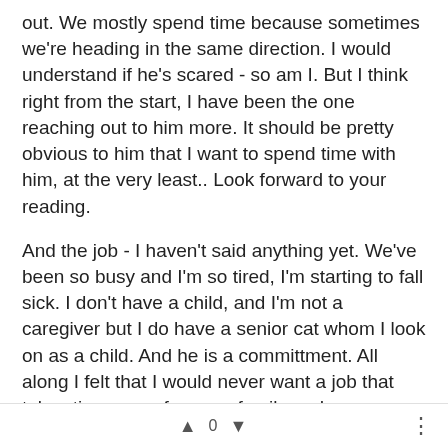out. We mostly spend time because sometimes we're heading in the same direction. I would understand if he's scared - so am I. But I think right from the start, I have been the one reaching out to him more. It should be pretty obvious to him that I want to spend time with him, at the very least.. Look forward to your reading.
And the job - I haven't said anything yet. We've been so busy and I'm so tired, I'm starting to fall sick. I don't have a child, and I'm not a caregiver but I do have a senior cat whom I look on as a child. And he is a committment. All along I felt that I would never want a job that takes time away from my family and my personal commitments. You are totally right - it is a tough call...this job. I dread having to give an answer, but I think I might give it a shot.
Are things ok with you? Seems like it's my turn to say Love, Light and Hugs. Hope all is well, LOAP.
▲ 0 ▼  ⋮